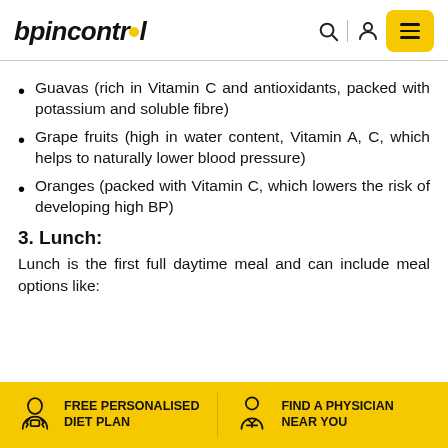bpincontrol
Guavas (rich in Vitamin C and antioxidants, packed with potassium and soluble fibre)
Grape fruits (high in water content, Vitamin A, C, which helps to naturally lower blood pressure)
Oranges (packed with Vitamin C, which lowers the risk of developing high BP)
3. Lunch:
Lunch is the first full daytime meal and can include meal options like:
FREE PERSONALISED DIET PLAN | FIND A PHYSICIAN NEAR YOU